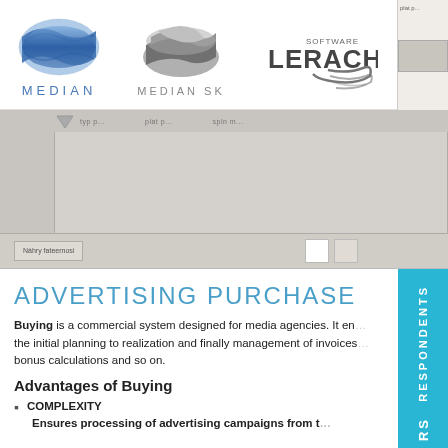[Figure (logo): MEDIAN logo - blue ribbon/disc shape with text MEDIAN below in blue spaced letters]
[Figure (logo): MEDIAN SK logo - grey disc/cylinder shape with text MEDIAN SK below in grey spaced letters]
[Figure (logo): SOFTWARE LERACH logo - text with curved swoosh lines]
[Figure (screenshot): A software UI screenshot showing a grey application window with toolbar and blank content area, with navigation buttons at bottom]
ADVERTISING PURCHASE
Buying is a commercial system designed for media agencies. It enables the initial planning to realization and finally management of invoices, bonus calculations and so on.
Advantages of Buying
COMPLEXITY
Ensures processing of advertising campaigns from t…